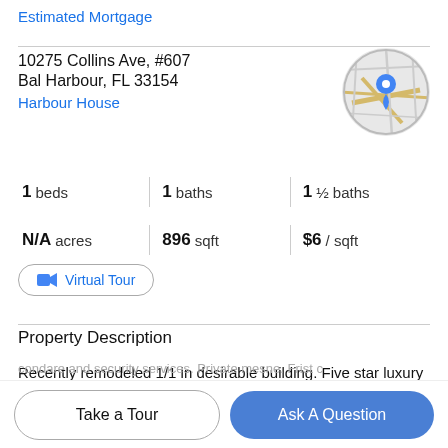Estimated Mortgage
10275 Collins Ave, #607
Bal Harbour, FL 33154
Harbour House
[Figure (map): Circular map thumbnail showing a street map with a blue location pin marker]
1 beds | 1 baths | 1 ½ baths
N/A acres | 896 sqft | $6 / sqft
Virtual Tour
Property Description
Recently remodeled 1/1 in desirable building. Five star luxury living. Excellent amenities: Pool deck and beach
Take a Tour
Ask A Question